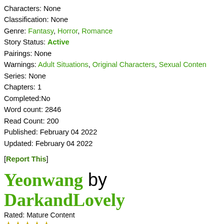Characters: None
Classification: None
Genre: Fantasy, Horror, Romance
Story Status: Active
Pairings: None
Warnings: Adult Situations, Original Characters, Sexual Content
Series: None
Chapters: 1
Completed:No
Word count: 2846
Read Count: 200
Published: February 04 2022
Updated: February 04 2022
[Report This]
Yeonwang by DarkandLovely
Rated: Mature Content
★★★★★
[Reviews - 40]
Summary: